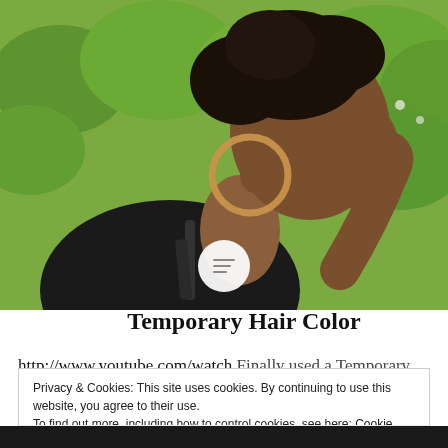[Figure (photo): Side profile of a Black woman with natural curly hair wearing large gold hoop earrings and a black top, photographed against a green hedge background with white flowers.]
Temporary Hair Color
http://www.youtube.com/watch Finally used a Temporary hair gel and I love it. It didn't leave my hair dry. Its 3 days
Privacy & Cookies: This site uses cookies. By continuing to use this website, you agree to their use.
To find out more, including how to control cookies, see here: Cookie Policy
Close and accept